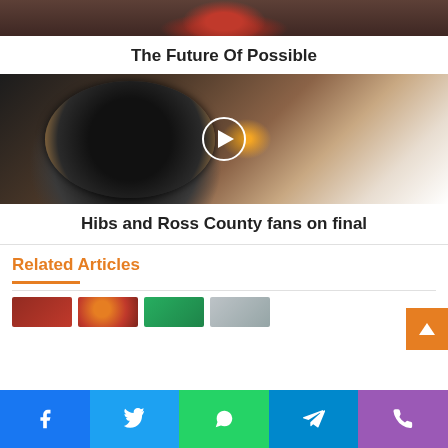[Figure (photo): Top portion of an image, cropped — appears to show red shoes or similar red object on dark ground with green rope/cord]
The Future Of Possible
[Figure (photo): A luxury chronograph watch on a wrist, shown close-up with dark background and blurred items in background. A white circular play button overlay is centered on the image.]
Hibs and Ross County fans on final
Related Articles
[Figure (photo): Row of small thumbnail images at the bottom of the page, partially cropped]